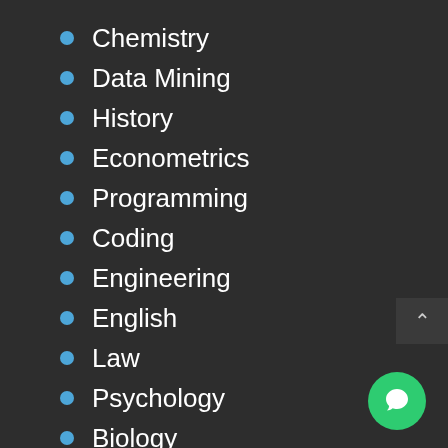Chemistry
Data Mining
History
Econometrics
Programming
Coding
Engineering
English
Law
Psychology
Biology